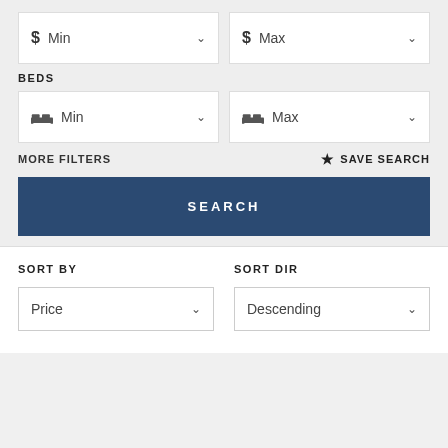$ Min (dropdown)
$ Max (dropdown)
BEDS
Bed icon Min (dropdown)
Bed icon Max (dropdown)
MORE FILTERS
★ SAVE SEARCH
SEARCH
SORT BY
SORT DIR
Price (dropdown)
Descending (dropdown)